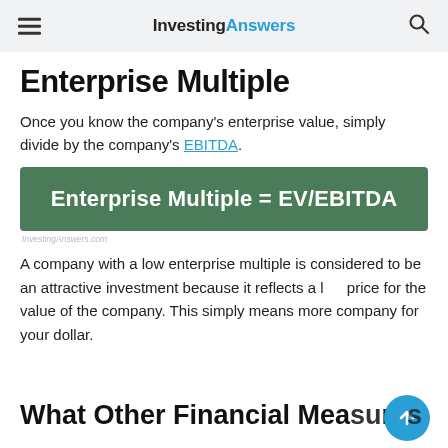InvestingAnswers
Enterprise Multiple
Once you know the company's enterprise value, simply divide by the company's EBITDA.
[Figure (infographic): Green banner with white bold text: Enterprise Multiple = EV/EBITDA. Attribution: InvestingAnswers.com]
A company with a low enterprise multiple is considered to be an attractive investment because it reflects a low price for the value of the company. This simply means more company for your dollar.
What Other Financial Measures...